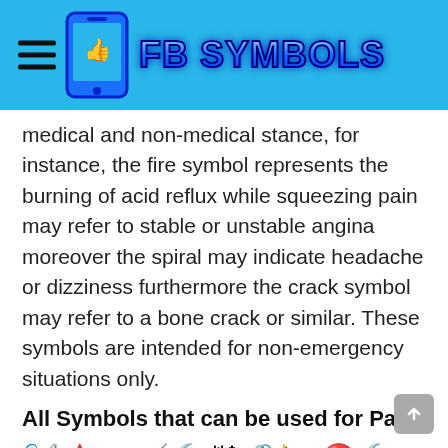FB SYMBOLS
medical and non-medical stance, for instance, the fire symbol represents the burning of acid reflux while squeezing pain may refer to stable or unstable angina moreover the spiral may indicate headache or dizziness furthermore the crack symbol may refer to a bone crack or similar. These symbols are intended for non-emergency situations only.
All Symbols that can be used for Pain
[Figure (other): Row of emoji and symbol icons representing pain symbols: needle, blood drop, squiggle, syringe, hammer, chain, clamp, saw, diagonal line, hammer, wrench/nail, skull crossbones, blue face, tired face, grimace face]
Learn More: Symbols of Wisdom